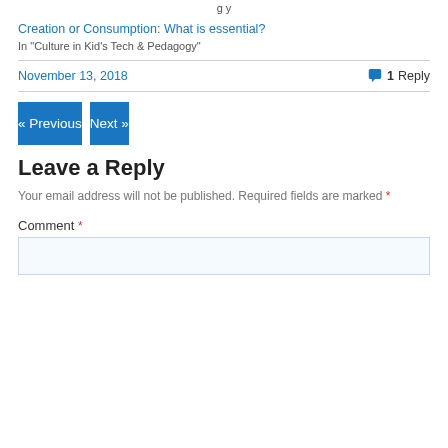Creation or Consumption: What is essential?
In "Culture in Kid's Tech & Pedagogy"
November 13, 2018
1 Reply
« Previous
Next »
Leave a Reply
Your email address will not be published. Required fields are marked *
Comment *